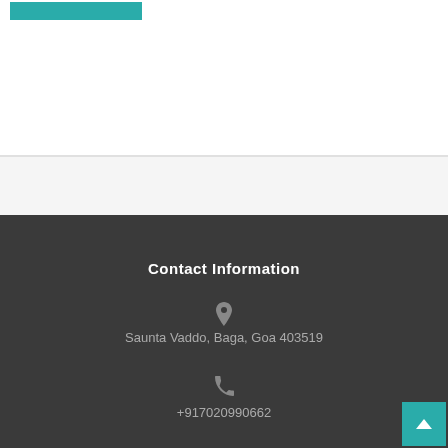Contact Information
Saunta Vaddo, Baga, Goa 403519
+917020990662